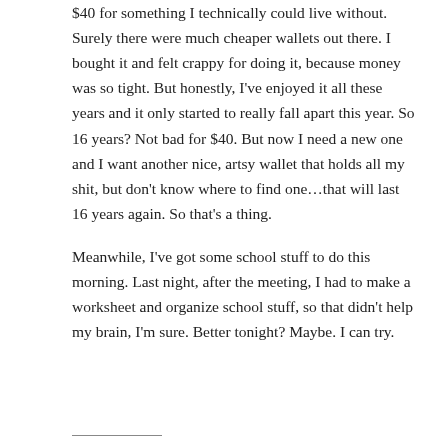$40 for something I technically could live without. Surely there were much cheaper wallets out there. I bought it and felt crappy for doing it, because money was so tight. But honestly, I've enjoyed it all these years and it only started to really fall apart this year. So 16 years? Not bad for $40. But now I need a new one and I want another nice, artsy wallet that holds all my shit, but don't know where to find one…that will last 16 years again. So that's a thing.
Meanwhile, I've got some school stuff to do this morning. Last night, after the meeting, I had to make a worksheet and organize school stuff, so that didn't help my brain, I'm sure. Better tonight? Maybe. I can try.